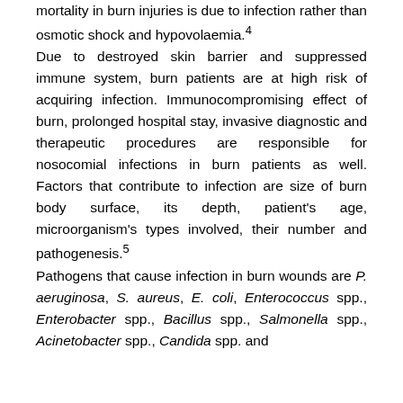mortality in burn injuries is due to infection rather than osmotic shock and hypovolaemia.4 Due to destroyed skin barrier and suppressed immune system, burn patients are at high risk of acquiring infection. Immunocompromising effect of burn, prolonged hospital stay, invasive diagnostic and therapeutic procedures are responsible for nosocomial infections in burn patients as well. Factors that contribute to infection are size of burn body surface, its depth, patient's age, microorganism's types involved, their number and pathogenesis.5 Pathogens that cause infection in burn wounds are P. aeruginosa, S. aureus, E. coli, Enterococcus spp., Enterobacter spp., Bacillus spp., Salmonella spp., Acinetobacter spp., Candida spp. and Aspillus spp.6,7 More attention to b...